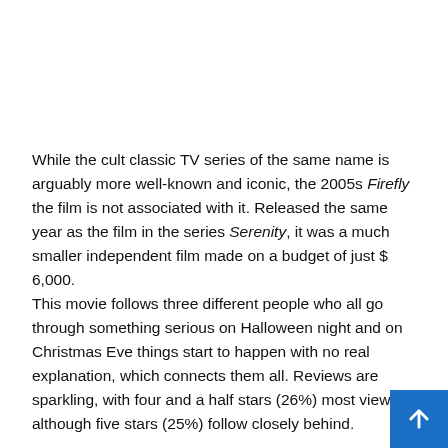While the cult classic TV series of the same name is arguably more well-known and iconic, the 2005s Firefly the film is not associated with it. Released the same year as the film in the series Serenity, it was a much smaller independent film made on a budget of just $ 6,000.
This movie follows three different people who all go through something serious on Halloween night and on Christmas Eve things start to happen with no real explanation, which connects them all. Reviews are sparkling, with four and a half stars (26%) most viewed, although five stars (25%) follow closely behind.